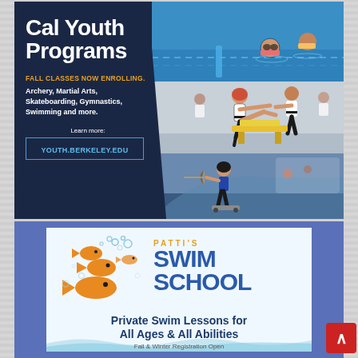[Figure (infographic): Cal Youth Programs advertisement with dark navy background, photos of children swimming, doing martial arts, and skateboarding/archery. Text overlay: 'Cal Youth Programs', 'FALL CLASSES NOW ENROLLING.', 'Archery, Martial Arts, Skateboarding, Gymnastics, Swimming and more.', 'Learn more:', 'YOUTH.BERKELEY.EDU']
[Figure (infographic): Patti's Swim School advertisement with blue border, light background, orange fish illustrations, bubbles. Text: 'PATTI'S', 'SWIM SCHOOL', 'Private Swim Lessons for All Ages & All Abilities', 'Fall & Winter Registration Open']